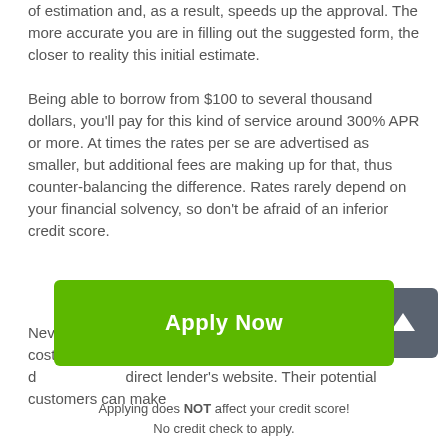of estimation and, as a result, speeds up the approval. The more accurate you are in filling out the suggested form, the closer to reality this initial estimate.
Being able to borrow from $100 to several thousand dollars, you'll pay for this kind of service around 300% APR or more. At times the rates per se are advertised as smaller, but additional fees are making up for that, thus counter-balancing the difference. Rates rarely depend on your financial solvency, so don't be afraid of an inferior credit score.
Nevertheless, the most up-to-date information about the cost of Glennville Installment loans is available only on direct lender's website. Their potential customers can make
[Figure (other): Green Apply Now button]
Applying does NOT affect your credit score!
No credit check to apply.